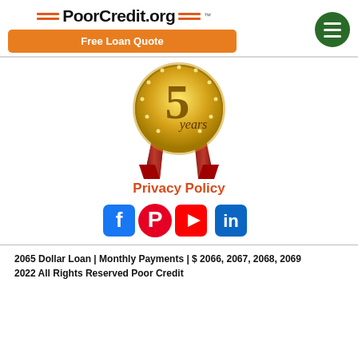[Figure (logo): PoorCredit.org logo with orange decorative lines on both sides and a green hamburger menu button]
[Figure (illustration): Gold award medal with '5 years' text and red ribbon/banner below]
Privacy Policy
[Figure (illustration): Social media icons row: Facebook, Pinterest, YouTube, LinkedIn]
2065 Dollar Loan | Monthly Payments | $ 2066, 2067, 2068, 2069
2022 All Rights Reserved Poor Credit